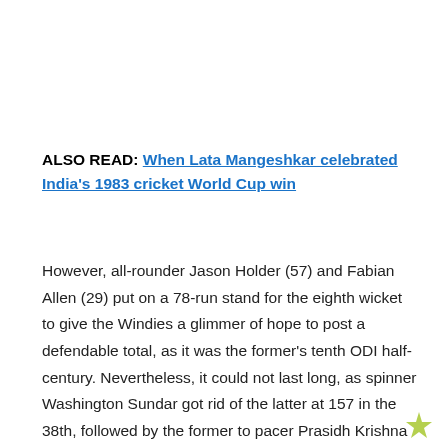ALSO READ: When Lata Mangeshkar celebrated India's 1983 cricket World Cup win
However, all-rounder Jason Holder (57) and Fabian Allen (29) put on a 78-run stand for the eighth wicket to give the Windies a glimmer of hope to post a defendable total, as it was the former's tenth ODI half-century. Nevertheless, it could not last long, as spinner Washington Sundar got rid of the latter at 157 in the 38th, followed by the former to pacer Prasidh Krishna ten runs later in the 41st. Alzarri Joseph (13) was the final man to fall in the 44th to spinner Yuzvendra Chahal, as WI could manage 176.